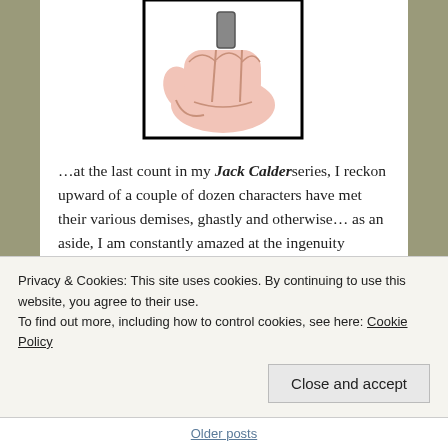[Figure (illustration): Cartoon illustration of a fist/hand holding something small (like a USB stick or pill), viewed from above, inside a black-bordered square frame. The hand is drawn in a simple cartoon style with pink skin tone.]
…at the last count in my Jack Calder series, I reckon upward of a couple of dozen characters have met their various demises, ghastly and otherwise… as an aside, I am constantly amazed at the ingenuity employed by fellow scribes who…
Privacy & Cookies: This site uses cookies. By continuing to use this website, you agree to their use.
To find out more, including how to control cookies, see here: Cookie Policy
Close and accept
Older posts